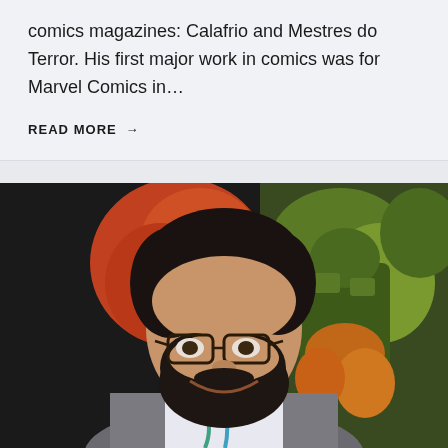comics magazines: Calafrio and Mestres do Terror. His first major work in comics was for Marvel Comics in…
READ MORE →
[Figure (photo): A bearded man with glasses and dark curly hair smiling, standing in front of comic book artwork featuring a green and orange character. He wears a light shirt and grey jacket with a lanyard.]